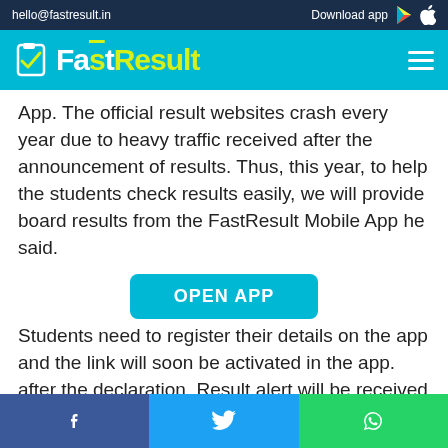hello@fastresult.in  Download app
[Figure (logo): FastResult logo with checkbox icon on cyan navigation bar]
App. The official result websites crash every year due to heavy traffic received after the announcement of results. Thus, this year, to help the students check results easily, we will provide board results from the FastResult Mobile App he said.
[Figure (other): OPEN APP button in cyan]
Students need to register their details on the app and the link will soon be activated in the app. after the declaration, Result alert will be received on their mobile within five minutes
Facebook  Twitter  WhatsApp social share icons